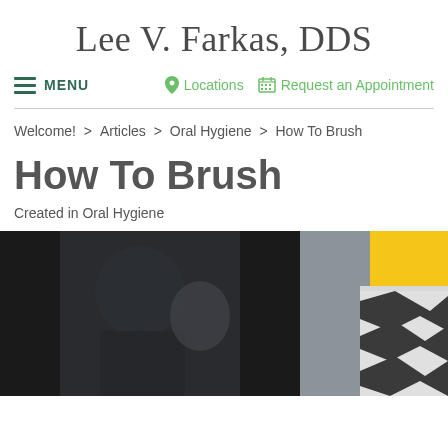Lee V. Farkas, DDS
≡ MENU   📍 Locations   📅 Request an Appointment
Welcome! > Articles > Oral Hygiene > How To Brush
How To Brush
Created in Oral Hygiene
[Figure (photo): A person brushing their teeth, shown in a close-up photo with a yellow object visible to the right and a black/dark background.]